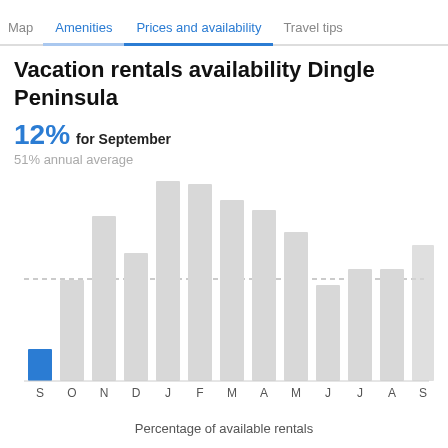Map  Amenities  Prices and availability  Travel tips
Vacation rentals availability Dingle Peninsula
12% for September
51% annual average
[Figure (bar-chart): Vacation rentals availability Dingle Peninsula]
Percentage of available rentals